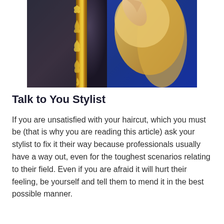[Figure (photo): A woman with long blonde hair in a blue dress touching an ornate gold mirror frame against a dark background]
Talk to You Stylist
If you are unsatisfied with your haircut, which you must be (that is why you are reading this article) ask your stylist to fix it their way because professionals usually have a way out, even for the toughest scenarios relating to their field. Even if you are afraid it will hurt their feeling, be yourself and tell them to mend it in the best possible manner.